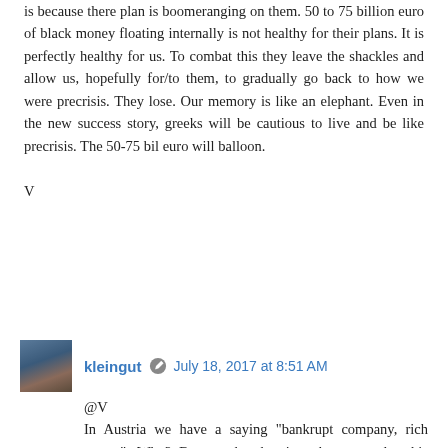is because there plan is boomeranging on them. 50 to 75 billion euro of black money floating internally is not healthy for their plans. It is perfectly healthy for us. To combat this they leave the shackles and allow us, hopefully for/to them, to gradually go back to how we were precrisis. They lose. Our memory is like an elephant. Even in the new success story, greeks will be cautious to live and be like precrisis. The 50-75 bil euro will balloon.
V
kleingut  July 18, 2017 at 8:51 AM
@V
In Austria we have a saying "bankrupt company, rich owner". Why? Because by the time the owner lets his company go belly-up, he has milked it for years, typically financed by bank loans and suppliers' debt. Most of the wealth he now has as owner represents losses taken by